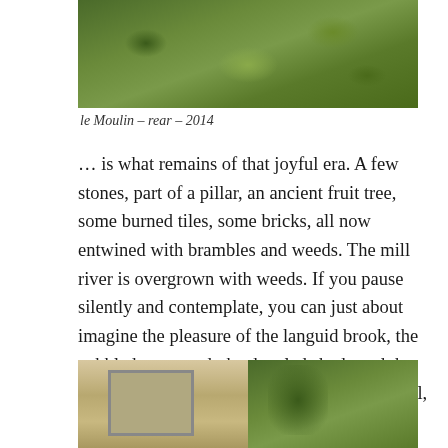[Figure (photo): Photograph of rear of le Moulin showing overgrown vegetation and greenery, taken in 2014]
le Moulin – rear – 2014
… is what remains of that joyful era. A few stones, part of a pillar, an ancient fruit tree, some burned tiles, some bricks, all now entwined with brambles and weeds. The mill river is overgrown with weeds. If you pause silently and contemplate, you can just about imagine the pleasure of the languid brook, the cobbled courtyard, the dappled shade and the warm sunsets. The atmosphere is charged, still, apprehensive. You might not wish to linger.
[Figure (photo): Two side-by-side photographs: left shows a historic illustration or old photo of a building (le Moulin), right shows trees and greenery]